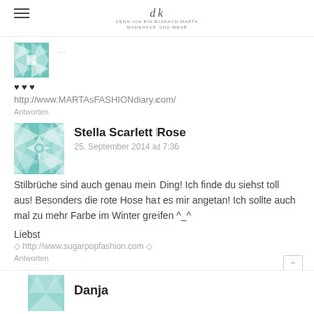dk [logo] DENN ICH BIN EINFACH MARTA / MODEHAUS UND MEHR
[Figure (illustration): Teal geometric quilt pattern avatar (cropped, partial view)]
♥ ♥ ♥
http://www.MARTAsFASHIONdiary.com/
Antworten
[Figure (illustration): Teal geometric quilt pattern avatar for Stella Scarlett Rose]
Stella Scarlett Rose
25. September 2014 at 7:36
Stilbrüche sind auch genau mein Ding! Ich finde du siehst toll aus! Besonders die rote Hose hat es mir angetan! Ich sollte auch mal zu mehr Farbe im Winter greifen ^_^
Liebst
◇ http://www.sugarpopfashion.com ◇
Antworten
[Figure (illustration): Teal geometric quilt pattern avatar for Dania (partial, cropped at bottom)]
Danja